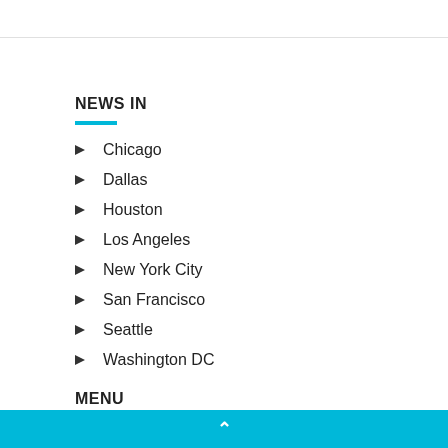NEWS IN
Chicago
Dallas
Houston
Los Angeles
New York City
San Francisco
Seattle
Washington DC
MENU
^